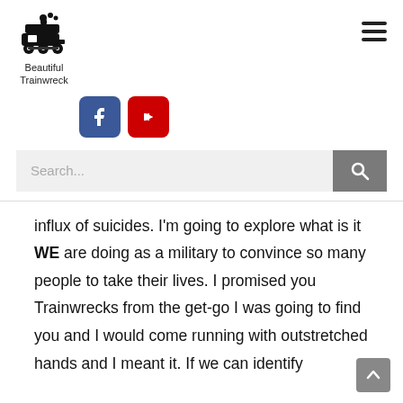[Figure (logo): Beautiful Trainwreck logo with steam train icon and text below]
[Figure (infographic): Hamburger menu icon (three horizontal lines) in top right corner]
[Figure (infographic): Social media icons: Facebook (blue) and YouTube (red)]
[Figure (screenshot): Search bar with placeholder text 'Search...' and grey search button with magnifying glass icon]
influx of suicides. I'm going to explore what is it WE are doing as a military to convince so many people to take their lives. I promised you Trainwrecks from the get-go I was going to find you and I would come running with outstretched hands and I meant it. If we can identify